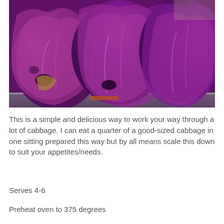[Figure (photo): Roasted red/purple cabbage wedges in a metal baking tray, showing charred and caramelized leaves in vibrant purple and magenta tones.]
This is a simple and delicious way to work your way through a lot of cabbage. I can eat a quarter of a good-sized cabbage in one sitting prepared this way but by all means scale this down to suit your appetites/needs.
Serves 4-6
Preheat oven to 375 degrees